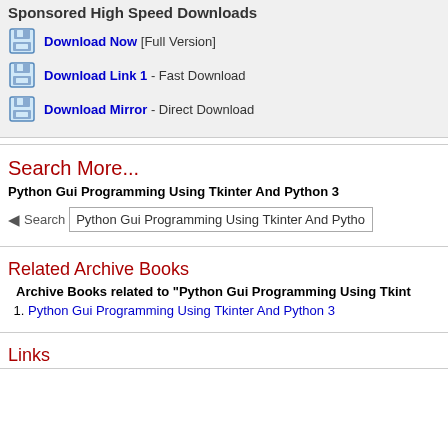Sponsored High Speed Downloads
Download Now [Full Version]
Download Link 1 - Fast Download
Download Mirror - Direct Download
Search More...
Python Gui Programming Using Tkinter And Python 3
Search  Python Gui Programming Using Tkinter And Python 3
Related Archive Books
Archive Books related to "Python Gui Programming Using Tkint
Python Gui Programming Using Tkinter And Python 3
Links